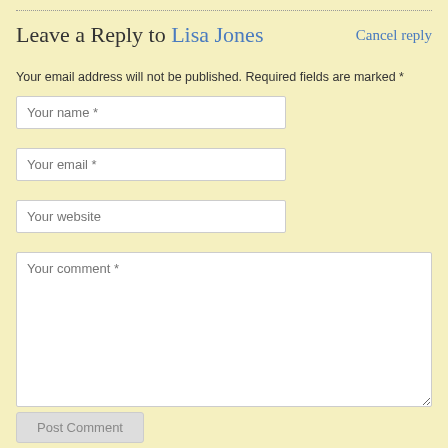Leave a Reply to Lisa Jones     Cancel reply
Your email address will not be published. Required fields are marked *
Your name *
Your email *
Your website
Your comment *
Post Comment
RECENT POSTS
The New News January 18, 2014